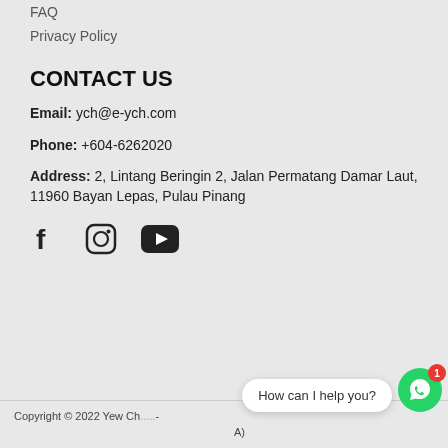FAQ
Privacy Policy
CONTACT US
Email: ych@e-ych.com
Phone: +604-6262020
Address: 2, Lintang Beringin 2, Jalan Permatang Damar Laut, 11960 Bayan Lepas, Pulau Pinang
[Figure (other): Social media icons: Facebook, Instagram, YouTube]
Copyright © 2022 Yew Ch... -A)
[Figure (other): WhatsApp chat widget with message 'How can I help you?' and badge showing 1 unread]